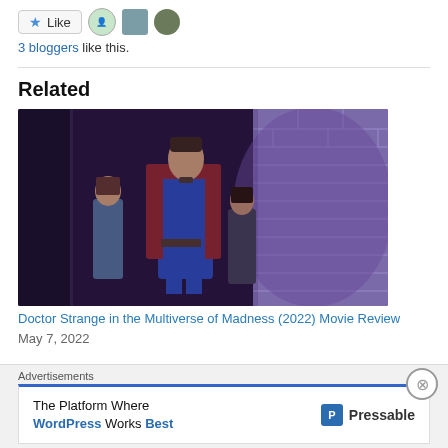[Figure (other): Like button with star icon and three avatar photos of bloggers]
3 bloggers like this.
Related
[Figure (photo): Movie still from Doctor Strange in the Multiverse of Madness showing three characters including Doctor Strange in blue costume with red cape standing in a doorway with purple-tinted brick wall]
Doctor Strange in the Multiverse of Madness (2022) Movie Review
May 7, 2022
Advertisements
[Figure (infographic): Pressable advertisement: The Platform Where WordPress Works Best]